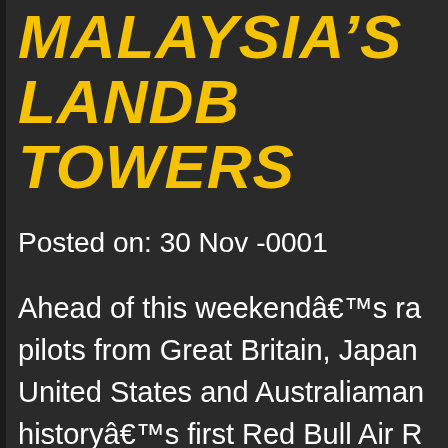MALAYSIA'S LANDMARK TOWERS
Posted on: 30 Nov -0001
Ahead of this weekend’s ra pilots from Great Britain, Japan United States and Australiaman history’s first Red Bull Air R in Malaysia with a Recon flight t in views of host city Putrajaya a